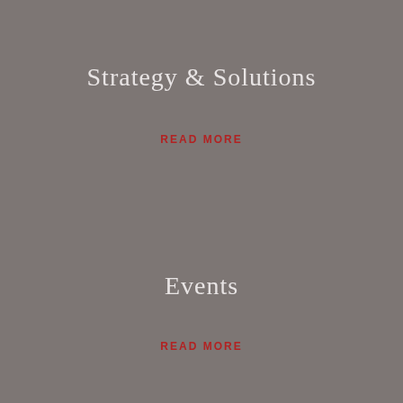Strategy & Solutions
READ MORE
Events
READ MORE